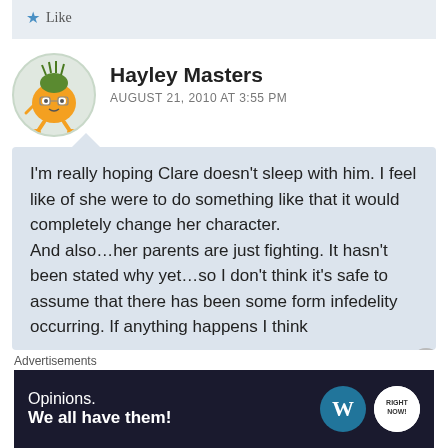Like
Hayley Masters
AUGUST 21, 2010 AT 3:55 PM
I'm really hoping Clare doesn't sleep with him. I feel like of she were to do something like that it would completely change her character. And also…her parents are just fighting. It hasn't been stated why yet…so I don't think it's safe to assume that there has been some form infedelity occurring. If anything happens I think
Advertisements
Opinions. We all have them!